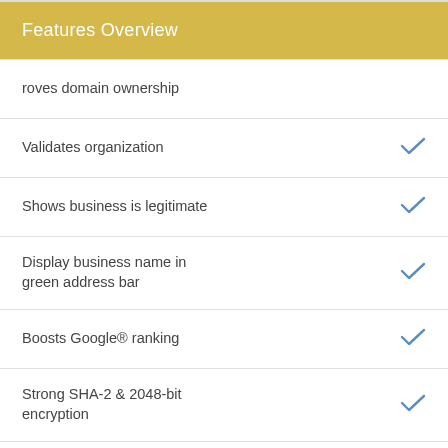Features Overview
roves domain ownership
Validates organization
Shows business is legitimate
Display business name in green address bar
Boosts Google® ranking
Strong SHA-2 & 2048-bit encryption
Padlock in address bar
Protects all subdomains (Wildcard SSL)